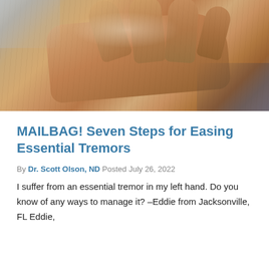[Figure (photo): Close-up photograph of an elderly person's hand with wrinkled skin resting on a surface, suggesting tremor or aging.]
MAILBAG! Seven Steps for Easing Essential Tremors
By Dr. Scott Olson, ND Posted July 26, 2022
I suffer from an essential tremor in my left hand. Do you know of any ways to manage it? –Eddie from Jacksonville, FL Eddie,